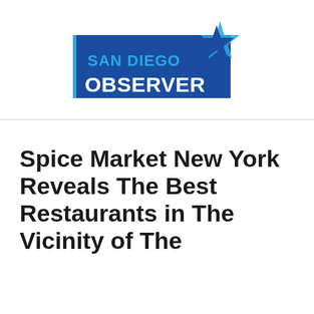[Figure (logo): San Diego Observer logo — blue rectangle with light-blue left border, 'SAN DIEGO' in light blue text and 'OBSERVER' in white bold text, with a blue star icon overlapping the top-right corner]
Spice Market New York Reveals The Best Restaurants in The Vicinity of The Area New York